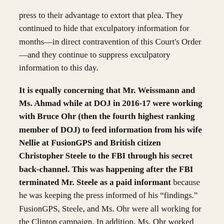press to their advantage to extort that plea. They continued to hide that exculpatory information for months—in direct contravention of this Court's Order—and they continue to suppress exculpatory information to this day.
It is equally concerning that Mr. Weissmann and Ms. Ahmad while at DOJ in 2016-17 were working with Bruce Ohr (then the fourth highest ranking member of DOJ) to feed information from his wife Nellie at FusionGPS and British citizen Christopher Steele to the FBI through his secret back-channel. This was happening after the FBI terminated Mr. Steele as a paid informant because he was keeping the press informed of his "findings." FusionGPS, Steele, and Ms. Ohr were all working for the Clinton campaign. In addition, Ms. Ohr worked for the CIA. The entire operation is further compromised by the fact that the second agent who interviewed Mr. Flynn along with former agent Strzok, was Bruce Ohr's contact with the FBI and conducted numerous debriefings of Mr. Ohr—passing along